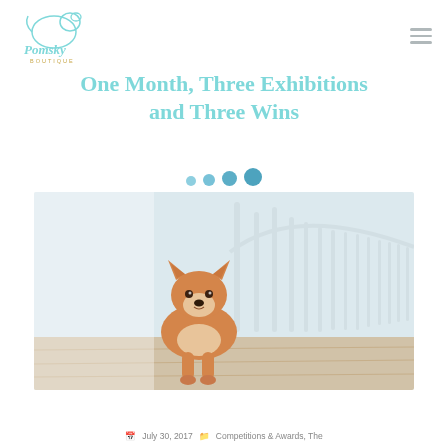Pomsky Boutique (logo) + hamburger menu
One Month, Three Exhibitions and Three Wins
[Figure (illustration): Decorative dots divider in light blue/teal gradient — four circles increasing in size from left to right]
[Figure (photo): A Corgi dog sitting on a wooden deck in front of a decorative metal bridge railing, outdoor setting, soft focus background]
July 30, 2017   Competitions & Awards, The